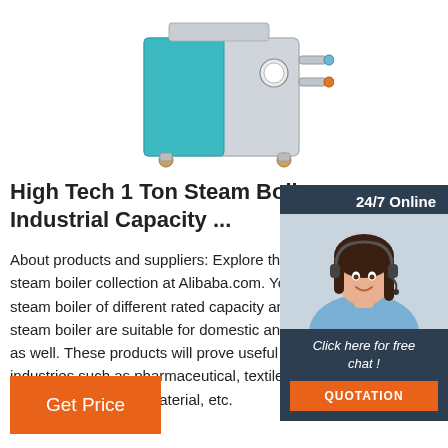[Figure (photo): Product photo of a small industrial steam boiler unit — gray and teal/blue colored box on wheels/feet with pipes and gauges on the side.]
High Tech 1 Ton Steam Boiler Industrial Capacity ...
About products and suppliers: Explore the massive steam boiler collection at Alibaba.com. You can find steam boiler of different rated capacity and fuel. The steam boiler are suitable for domestic and industrial use as well. These products will prove useful in different industries such as pharmaceutical, textile, food processing, building material, etc.
[Figure (photo): Chat widget overlay showing a customer service representative (woman with headset), '24/7 Online' header, 'Click here for free chat!' call to action, and an orange QUOTATION button.]
Get Price